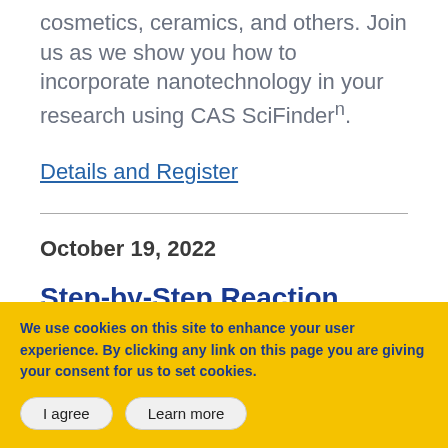cosmetics, ceramics, and others. Join us as we show you how to incorporate nanotechnology in your research using CAS SciFinderⁿ.
Details and Register
October 19, 2022
Step-by-Step Reaction
We use cookies on this site to enhance your user experience. By clicking any link on this page you are giving your consent for us to set cookies.